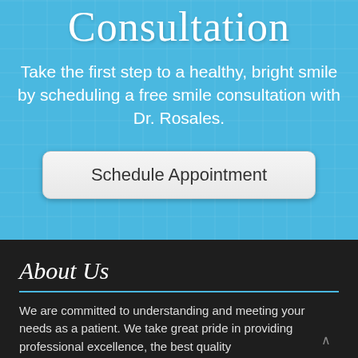Consultation
Take the first step to a healthy, bright smile by scheduling a free smile consultation with Dr. Rosales.
Schedule Appointment
About Us
We are committed to understanding and meeting your needs as a patient. We take great pride in providing professional excellence, the best quality